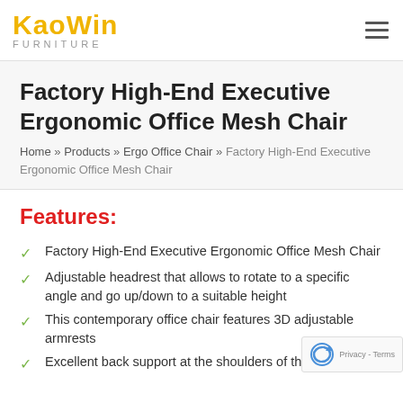KaoWin FURNITURE
Factory High-End Executive Ergonomic Office Mesh Chair
Home » Products » Ergo Office Chair » Factory High-End Executive Ergonomic Office Mesh Chair
Features:
Factory High-End Executive Ergonomic Office Mesh Chair
Adjustable headrest that allows to rotate to a specific angle and go up/down to a suitable height
This contemporary office chair features 3D adjustable armrests
Excellent back support at the shoulders of the back...